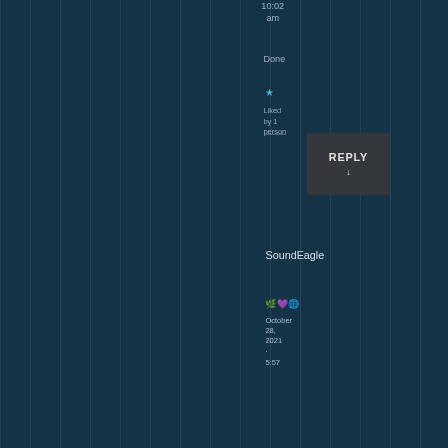10:02 am
Done
★
Liked by 1 person
REPLY ↓
SoundEagle
🌿💜🌐
October 28, 2021 · 5:57